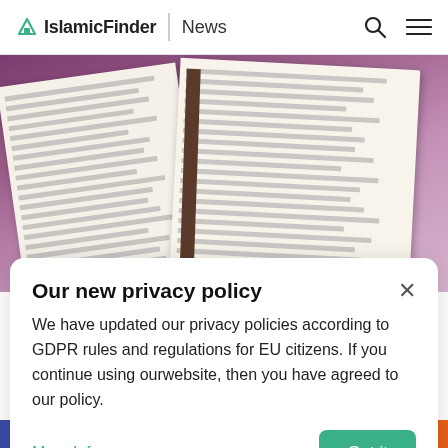IslamicFinder | News
[Figure (photo): Person in purple hijab reading an open Quran/Arabic book, close-up of pages with Arabic text]
Our new privacy policy
We have updated our privacy policies according to GDPR rules and regulations for EU citizens. If you continue using ourwebsite, then you have agreed to our policy.
More Info
Got it